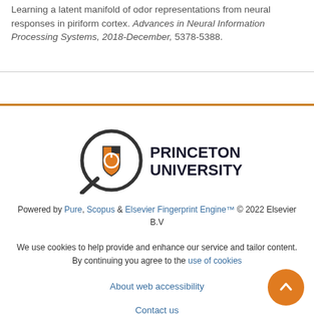Learning a latent manifold of odor representations from neural responses in piriform cortex. Advances in Neural Information Processing Systems, 2018-December, 5378-5388.
[Figure (logo): Princeton University logo with magnifying glass icon containing a shield with orange and black design, and PRINCETON UNIVERSITY text in bold black capitals]
Powered by Pure, Scopus & Elsevier Fingerprint Engine™ © 2022 Elsevier B.V
We use cookies to help provide and enhance our service and tailor content. By continuing you agree to the use of cookies
About web accessibility
Contact us